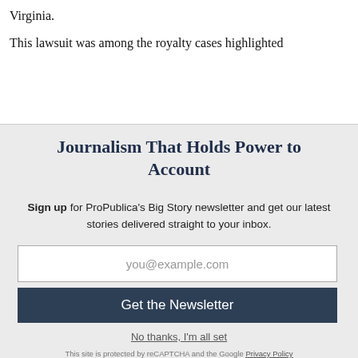Virginia.
This lawsuit was among the royalty cases highlighted
Journalism That Holds Power to Account
Sign up for ProPublica's Big Story newsletter and get our latest stories delivered straight to your inbox.
you@example.com
Get the Newsletter
No thanks, I'm all set
This site is protected by reCAPTCHA and the Google Privacy Policy and Terms of Service apply.